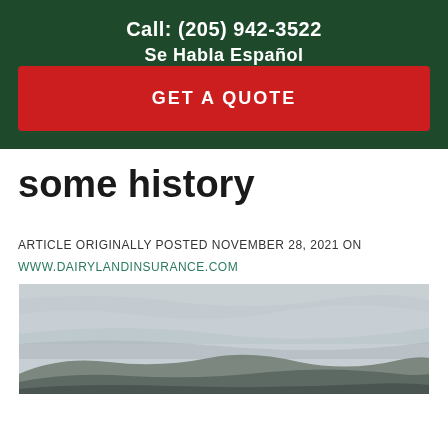Call: (205) 942-3522
Se Habla Español
GET A QUOTE
some history
ARTICLE ORIGINALLY POSTED NOVEMBER 28, 2021 ON
WWW.DAIRYLANDINSURANCE.COM
[Figure (photo): Landscape photo showing overcast sky with wispy clouds over rolling hills/mountains in the distance, muted grey-green tones.]